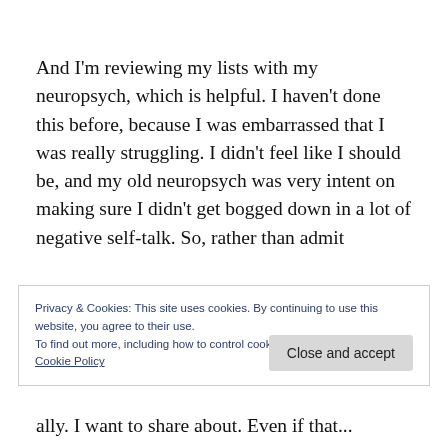And I'm reviewing my lists with my neuropsych, which is helpful. I haven't done this before, because I was embarrassed that I was really struggling. I didn't feel like I should be, and my old neuropsych was very intent on making sure I didn't get bogged down in a lot of negative self-talk. So, rather than admit
Privacy & Cookies: This site uses cookies. By continuing to use this website, you agree to their use.
To find out more, including how to control cookies, see here:
Cookie Policy
ally. I want to share about. Even if that...